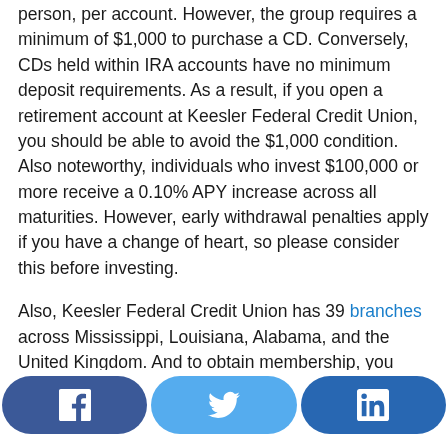person, per account. However, the group requires a minimum of $1,000 to purchase a CD. Conversely, CDs held within IRA accounts have no minimum deposit requirements. As a result, if you open a retirement account at Keesler Federal Credit Union, you should be able to avoid the $1,000 condition. Also noteworthy, individuals who invest $100,000 or more receive a 0.10% APY increase across all maturities. However, early withdrawal penalties apply if you have a change of heart, so please consider this before investing.
Also, Keesler Federal Credit Union has 39 branches across Mississippi, Louisiana, Alabama, and the United Kingdom. And to obtain membership, you need to be an active community member in one of
[Figure (other): Social media share buttons for Facebook, Twitter, and LinkedIn at the bottom of the page]